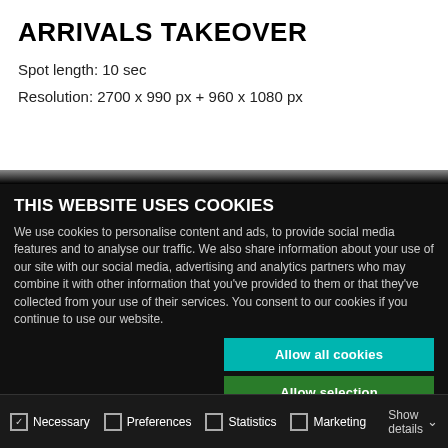ARRIVALS TAKEOVER
Spot length: 10 sec
Resolution: 2700 x 990 px + 960 x 1080 px
THIS WEBSITE USES COOKIES
We use cookies to personalise content and ads, to provide social media features and to analyse our traffic. We also share information about your use of our site with our social media, advertising and analytics partners who may combine it with other information that you've provided to them or that they've collected from your use of their services. You consent to our cookies if you continue to use our website.
Allow all cookies
Allow selection
Use necessary cookies only
Necessary  Preferences  Statistics  Marketing  Show details